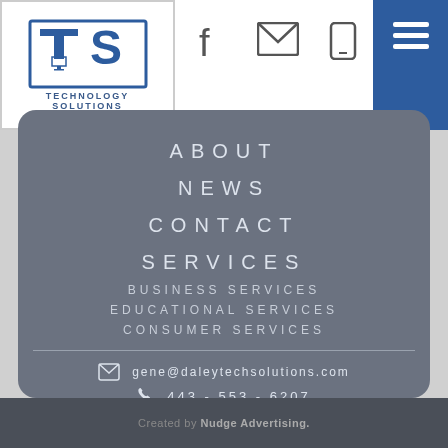[Figure (logo): TS Technology Solutions logo with stylized T and S letters in blue box]
[Figure (infographic): Navigation icons: Facebook f icon, envelope/email icon, mobile phone icon]
[Figure (infographic): Hamburger menu button (three horizontal lines) on blue background]
ABOUT
NEWS
CONTACT
SERVICES
BUSINESS SERVICES
EDUCATIONAL SERVICES
CONSUMER SERVICES
gene@daleytechsolutions.com
443 - 553 - 6207
FOLLOW US ON FACEBOOK!
Created by Nudge Advertising.